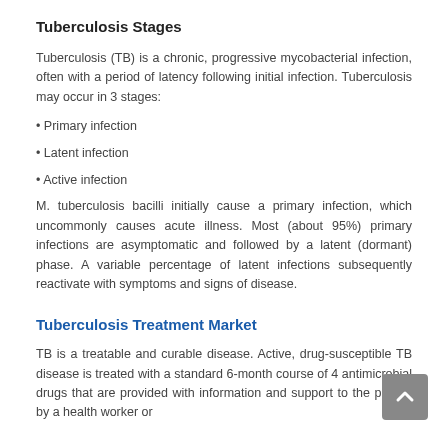Tuberculosis Stages
Tuberculosis (TB) is a chronic, progressive mycobacterial infection, often with a period of latency following initial infection. Tuberculosis may occur in 3 stages:
• Primary infection
• Latent infection
• Active infection
M. tuberculosis bacilli initially cause a primary infection, which uncommonly causes acute illness. Most (about 95%) primary infections are asymptomatic and followed by a latent (dormant) phase. A variable percentage of latent infections subsequently reactivate with symptoms and signs of disease.
Tuberculosis Treatment Market
TB is a treatable and curable disease. Active, drug-susceptible TB disease is treated with a standard 6-month course of 4 antimicrobial drugs that are provided with information and support to the patient by a health worker or